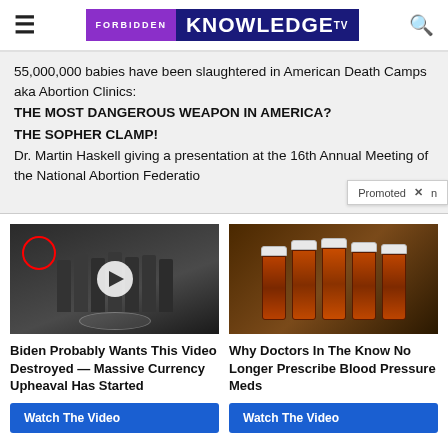FORBIDDEN KNOWLEDGE TV
55,000,000 babies have been slaughtered in American Death Camps aka Abortion Clinics:
THE MOST DANGEROUS WEAPON IN AMERICA?
THE SOPHER CLAMP!
Dr. Martin Haskell giving a presentation at the 16th Annual Meeting of the National Abortion Federatio
[Figure (photo): Group of people in suits standing in front of CIA seal, with a red circle around one person on the left, and a play button overlay in the center]
Biden Probably Wants This Video Destroyed — Massive Currency Upheaval Has Started
Watch The Video
[Figure (photo): Several amber prescription pill bottles arranged in a row on a dark surface]
Why Doctors In The Know No Longer Prescribe Blood Pressure Meds
Watch The Video